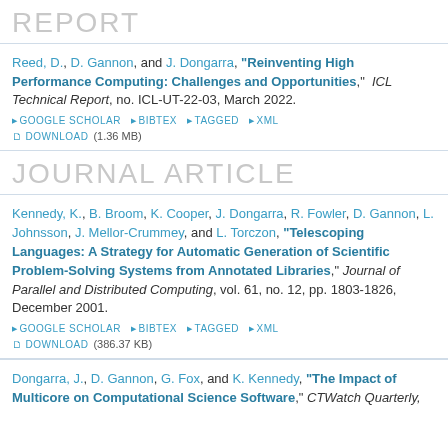REPORT
Reed, D., D. Gannon, and J. Dongarra, "Reinventing High Performance Computing: Challenges and Opportunities," ICL Technical Report, no. ICL-UT-22-03, March 2022.
GOOGLE SCHOLAR  BIBTEX  TAGGED  XML  DOWNLOAD (1.36 MB)
JOURNAL ARTICLE
Kennedy, K., B. Broom, K. Cooper, J. Dongarra, R. Fowler, D. Gannon, L. Johnsson, J. Mellor-Crummey, and L. Torczon, "Telescoping Languages: A Strategy for Automatic Generation of Scientific Problem-Solving Systems from Annotated Libraries," Journal of Parallel and Distributed Computing, vol. 61, no. 12, pp. 1803-1826, December 2001.
GOOGLE SCHOLAR  BIBTEX  TAGGED  XML  DOWNLOAD (386.37 KB)
Dongarra, J., D. Gannon, G. Fox, and K. Kennedy, "The Impact of Multicore on Computational Science Software," CTWatch Quarterly,